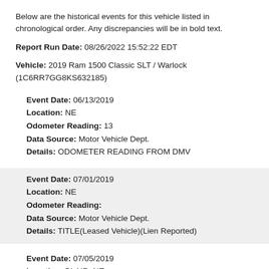Below are the historical events for this vehicle listed in chronological order. Any discrepancies will be in bold text.
Report Run Date: 08/26/2022 15:52:22 EDT
Vehicle: 2019 Ram 1500 Classic SLT / Warlock (1C6RR7GG8KS632185)
Event Date: 06/13/2019
Location: NE
Odometer Reading: 13
Data Source: Motor Vehicle Dept.
Details: ODOMETER READING FROM DMV
Event Date: 07/01/2019
Location: NE
Odometer Reading:
Data Source: Motor Vehicle Dept.
Details: TITLE(Leased Vehicle)(Lien Reported)
Event Date: 07/05/2019
Location: BLAIR, NE